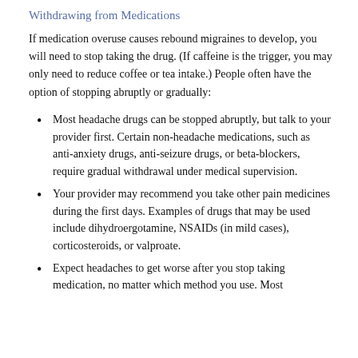Withdrawing from Medications
If medication overuse causes rebound migraines to develop, you will need to stop taking the drug. (If caffeine is the trigger, you may only need to reduce coffee or tea intake.) People often have the option of stopping abruptly or gradually:
Most headache drugs can be stopped abruptly, but talk to your provider first. Certain non-headache medications, such as anti-anxiety drugs, anti-seizure drugs, or beta-blockers, require gradual withdrawal under medical supervision.
Your provider may recommend you take other pain medicines during the first days. Examples of drugs that may be used include dihydroergotamine, NSAIDs (in mild cases), corticosteroids, or valproate.
Expect headaches to get worse after you stop taking medication, no matter which method you use. Most